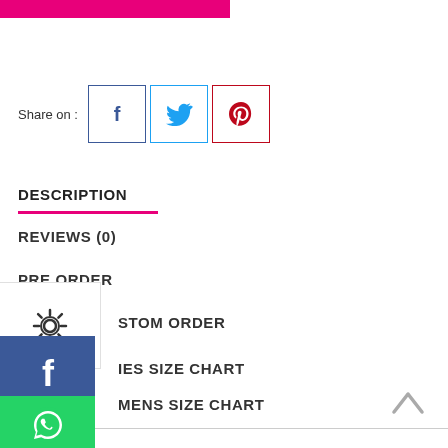[Figure (other): Pink/magenta button or banner bar at top left]
Share on :
[Figure (other): Facebook share button (f icon, dark blue border square)]
[Figure (other): Twitter share button (bird icon, light blue border square)]
[Figure (other): Pinterest share button (P icon, red border square)]
DESCRIPTION
REVIEWS (0)
PRE ORDER
[Figure (other): Settings/gear icon overlay widget]
CUSTOM ORDER
[Figure (other): Facebook side social button (blue square with f icon)]
LADIES SIZE CHART
MENS SIZE CHART
[Figure (other): WhatsApp side button (green circle with phone icon)]
[Figure (other): Scroll to top arrow button (chevron up icon)]